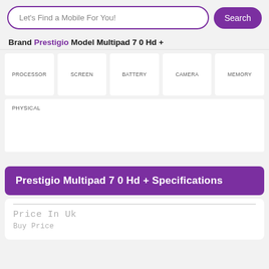Let's Find a Mobile For You!
Search
Brand Prestigio Model Multipad 7 0 Hd +
| PROCESSOR | SCREEN | BATTERY | CAMERA | MEMORY |
| --- | --- | --- | --- | --- |
|  |
| PHYSICAL |
| --- |
|  |
Prestigio Multipad 7 0 Hd + Specifications
Price In Uk
Buy Price